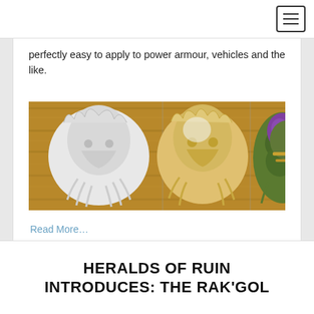perfectly easy to apply to power armour, vehicles and the like.
[Figure (photo): Three miniature figurines in progressive stages of painting: unpainted white on left, partially painted gold/white in middle, fully painted green/gold/purple on right, placed on a wooden surface.]
Read More…
HERALDS OF RUIN INTRODUCES: THE RAK'GOL